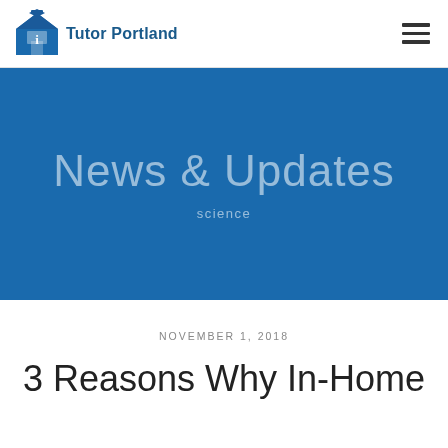[Figure (logo): Tutor Portland logo with house/graduation cap icon and text 'Tutor Portland']
[Figure (illustration): Blue hero banner with text 'News & Updates' and subtitle 'science']
NOVEMBER 1, 2018
3 Reasons Why In-Home Tutoring Beats The...